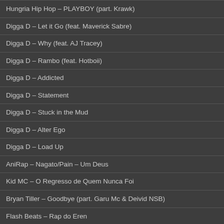Hungria Hip Hop – PLAYBOY (part. Krawk)
Digga D – Let it Go (feat. Maverick Sabre)
Digga D – Why (feat. AJ Tracey)
Digga D – Rambo (feat. Hotboii)
Digga D – Addicted
Digga D – Statement
Digga D – Stuck in the Mud
Digga D – Alter Ego
Digga D – Load Up
AniRap – Nagato/Pain – Um Deus
Kid MC – O Regresso de Quem Nunca Foi
Bryan Tiller – Goodbye (part. Garu Mc & Deivid NSB)
Flash Beats – Rap do Eren
Yaeow – not your fault